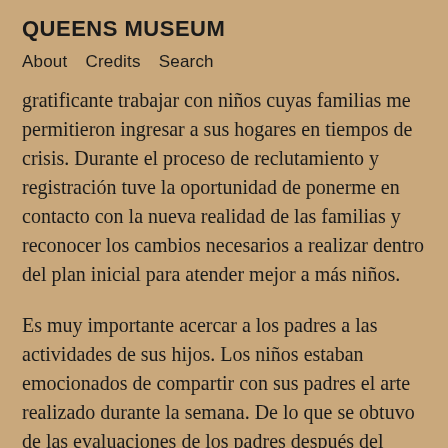QUEENS MUSEUM
About   Credits   Search
gratificante trabajar con niños cuyas familias me permitieron ingresar a sus hogares en tiempos de crisis. Durante el proceso de reclutamiento y registración tuve la oportunidad de ponerme en contacto con la nueva realidad de las familias y reconocer los cambios necesarios a realizar dentro del plan inicial para atender mejor a más niños.
Es muy importante acercar a los padres a las actividades de sus hijos. Los niños estaban emocionados de compartir con sus padres el arte realizado durante la semana. De lo que se obtuvo de las evaluaciones de los padres después del campamento: fue la primera vez